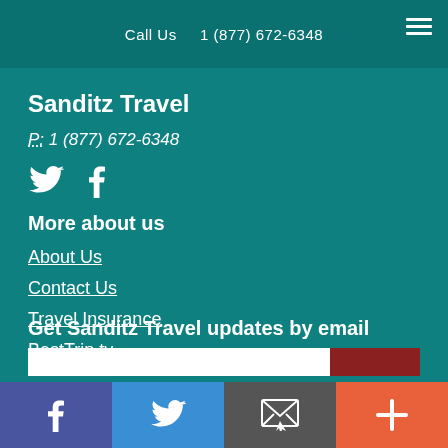Call Us   1 (877) 672-6348
Sanditz Travel
P: 1 (877) 672-6348
[Figure (other): Twitter and Facebook social media icons]
More about us
About Us
Contact Us
Travel Insurance
BestTrip.tv
Get Sanditz Travel updates by email
Facebook | Twitter | Email | More